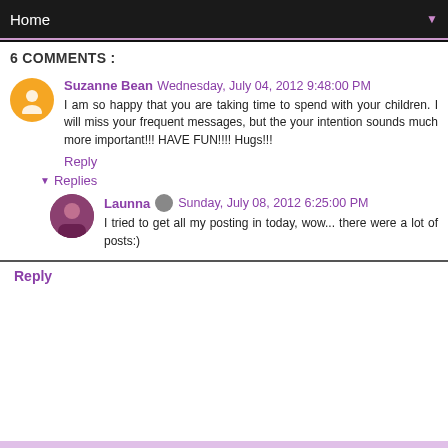Home
6 COMMENTS :
Suzanne Bean Wednesday, July 04, 2012 9:48:00 PM
I am so happy that you are taking time to spend with your children. I will miss your frequent messages, but the your intention sounds much more important!!! HAVE FUN!!!! Hugs!!!
Reply
Replies
Launna Sunday, July 08, 2012 6:25:00 PM
I tried to get all my posting in today, wow... there were a lot of posts:)
Reply